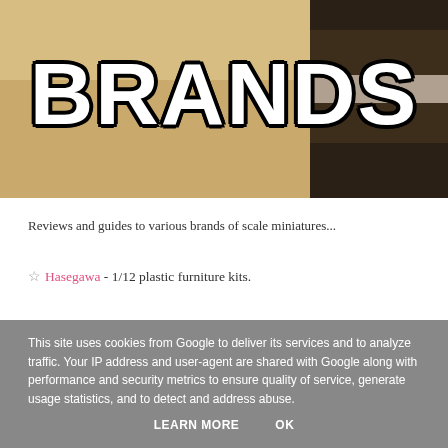[Figure (photo): Hero image with the word BRANDS in large white bold letters with dark outline, overlaid on a warm beige/tan background with dark brown folded fabric or scarves visible on the right side.]
Reviews and guides to various brands of scale miniatures...
☆ Hasegawa - 1/12 plastic furniture kits.
This site uses cookies from Google to deliver its services and to analyze traffic. Your IP address and user-agent are shared with Google along with performance and security metrics to ensure quality of service, generate usage statistics, and to detect and address abuse.
LEARN MORE   OK